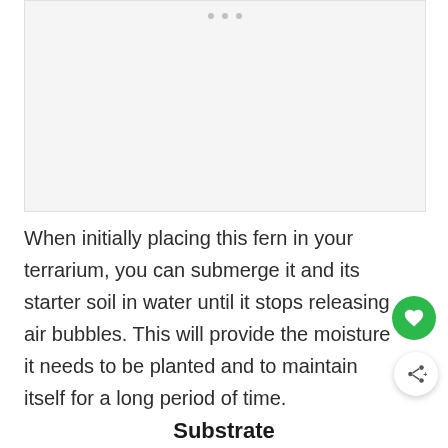[Figure (photo): Image placeholder area with light gray background, three dots at top indicating a carousel or image viewer]
When initially placing this fern in your terrarium, you can submerge it and its starter soil in water until it stops releasing air bubbles. This will provide the moisture it needs to be planted and to maintain itself for a long period of time.
Substrate